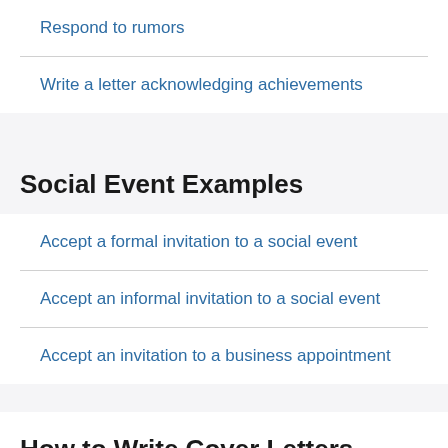Respond to rumors
Write a letter acknowledging achievements
Social Event Examples
Accept a formal invitation to a social event
Accept an informal invitation to a social event
Accept an invitation to a business appointment
How to Write Cover Letters
by Melvin J. Luthy PhD